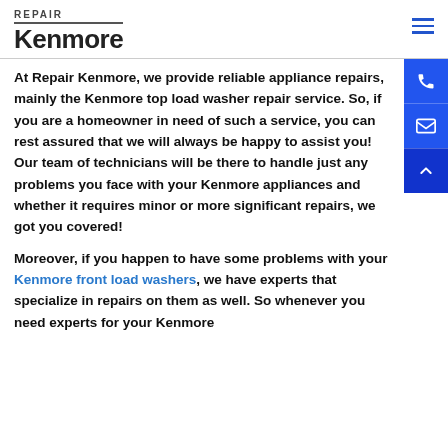REPAIR Kenmore
At Repair Kenmore, we provide reliable appliance repairs, mainly the Kenmore top load washer repair service. So, if you are a homeowner in need of such a service, you can rest assured that we will always be happy to assist you! Our team of technicians will be there to handle just any problems you face with your Kenmore appliances and whether it requires minor or more significant repairs, we got you covered!
Moreover, if you happen to have some problems with your Kenmore front load washers, we have experts that specialize in repairs on them as well. So whenever you need experts for your Kenmore